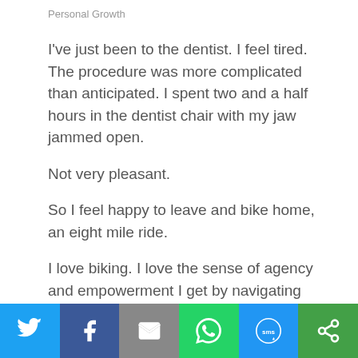Personal Growth
I've just been to the dentist. I feel tired. The procedure was more complicated than anticipated. I spent two and a half hours in the dentist chair with my jaw jammed open.
Not very pleasant.
So I feel happy to leave and bike home, an eight mile ride.
I love biking. I love the sense of agency and empowerment I get by navigating traffic, pedaling up a hill, zooming down the hill,
[Figure (other): Social share bar with icons for Twitter, Facebook, Email, WhatsApp, SMS, and a share/other button]